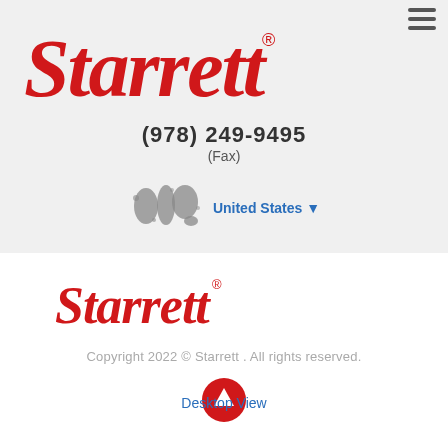[Figure (logo): Starrett red script logo (large, top section)]
(978) 249-9495
(Fax)
[Figure (illustration): World map graphic (gray silhouette)]
United States ▼
[Figure (logo): Starrett red script logo (smaller, footer)]
Copyright 2022 © Starrett . All rights reserved.
[Figure (other): Red circular up-arrow button]
Desktop View